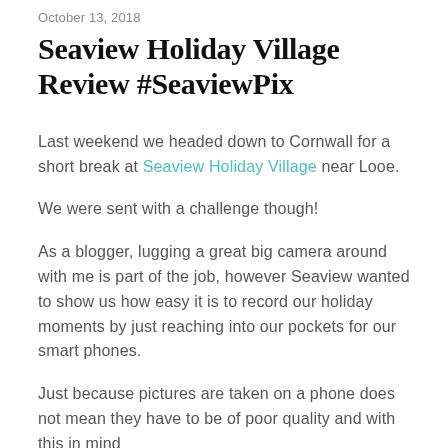October 13, 2018
Seaview Holiday Village Review #SeaviewPix
Last weekend we headed down to Cornwall for a short break at Seaview Holiday Village near Looe.
We were sent with a challenge though!
As a blogger, lugging a great big camera around with me is part of the job, however Seaview wanted to show us how easy it is to record our holiday moments by just reaching into our pockets for our smart phones.
Just because pictures are taken on a phone does not mean they have to be of poor quality and with this in mind